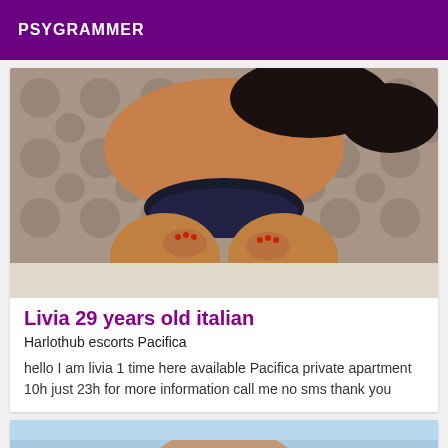PSYGRAMMER
[Figure (photo): Photo of a woman posing in lingerie on a light rug with a floral wallpaper background]
Livia 29 years old italian
Harlothub escorts Pacifica
hello I am livia 1 time here available Pacifica private apartment 10h just 23h for more information call me no sms thank you
[Figure (photo): Partial photo of another person, cropped at bottom of page]